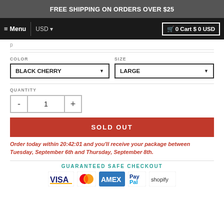FREE SHIPPING ON ORDERS OVER $25
Menu  USD  0 Cart $ 0 USD
COLOR: BLACK CHERRY   SIZE: LARGE
QUANTITY  - 1 +
SOLD OUT
Order today within 20:42:01 and you'll receive your package between Tuesday, September 6th and Thursday, September 8th.
GUARANTEED SAFE CHECKOUT
[Figure (logo): Payment icons: VISA, Mastercard, AMEX, PayPal, Shopify]